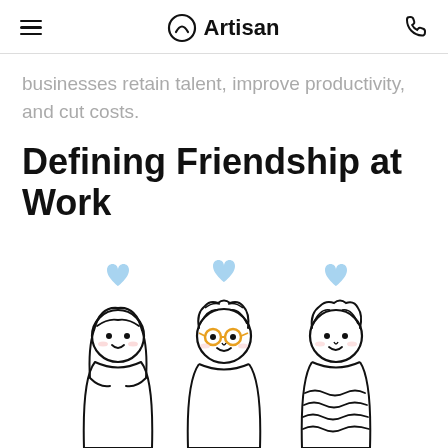Artisan
businesses retain talent, improve productivity, and cut costs.
Defining Friendship at Work
[Figure (illustration): Three cartoon characters with light blue hearts above their heads. Left: a girl with long hair. Center: a boy with stylized hair and round yellow glasses. Right: a boy with wavy-patterned shirt.]